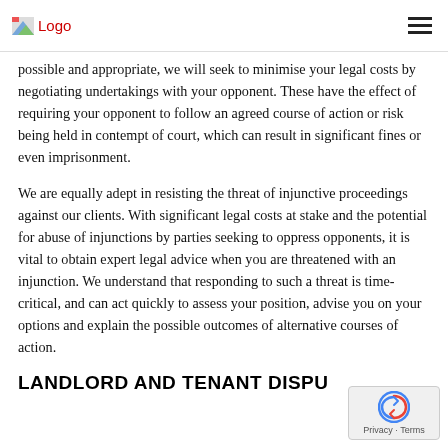Logo
possible and appropriate, we will seek to minimise your legal costs by negotiating undertakings with your opponent. These have the effect of requiring your opponent to follow an agreed course of action or risk being held in contempt of court, which can result in significant fines or even imprisonment.
We are equally adept in resisting the threat of injunctive proceedings against our clients. With significant legal costs at stake and the potential for abuse of injunctions by parties seeking to oppress opponents, it is vital to obtain expert legal advice when you are threatened with an injunction. We understand that responding to such a threat is time-critical, and can act quickly to assess your position, advise you on your options and explain the possible outcomes of alternative courses of action.
LANDLORD AND TENANT DISPU